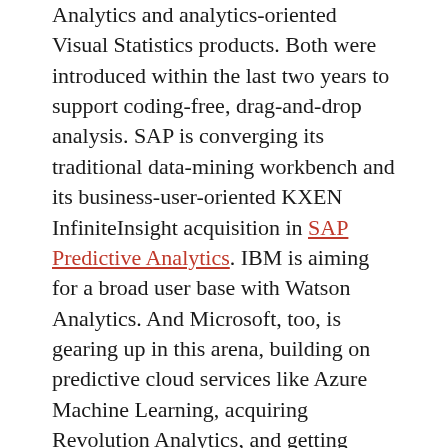Analytics and analytics-oriented Visual Statistics products. Both were introduced within the last two years to support coding-free, drag-and-drop analysis. SAP is converging its traditional data-mining workbench and its business-user-oriented KXEN InfiniteInsight acquisition in SAP Predictive Analytics. IBM is aiming for a broad user base with Watson Analytics. And Microsoft, too, is gearing up in this arena, building on predictive cloud services like Azure Machine Learning, acquiring Revolution Analytics, and getting more aggressive with its recent revamp of Power BI.
Make no mistake, self-service data-prep and self-service analytics are following in the footsteps of self-service business intelligence. So the gap between Excel and advanced analytics tools